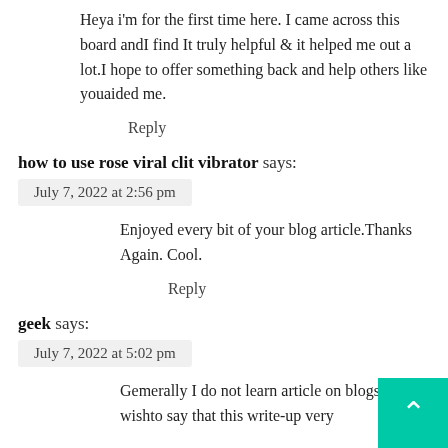Heya i'm for the first time here. I came across this board andI find It truly helpful & it helped me out a lot.I hope to offer something back and help others like youaided me.
Reply
how to use rose viral clit vibrator says:
July 7, 2022 at 2:56 pm
Enjoyed every bit of your blog article.Thanks Again. Cool.
Reply
geek says:
July 7, 2022 at 5:02 pm
Gemerally I do not learn article on blogs bbut I wishto say that this write-up very